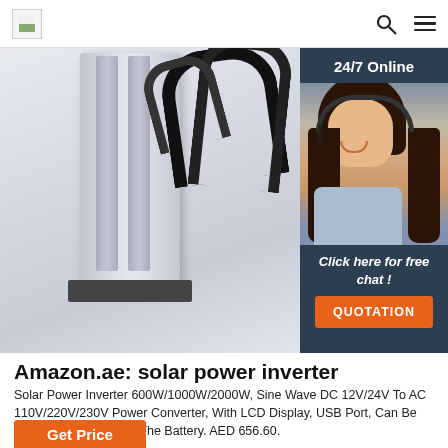[Figure (photo): Solar power inverter product photo showing a tall rectangular silver/aluminum inverter with cables, partially visible against white background]
[Figure (infographic): 24/7 Online chat widget with woman wearing headset, dark blue background, 'Click here for free chat!' text and orange QUOTATION button]
Amazon.ae: solar power inverter
Solar Power Inverter 600W/1000W/2000W, Sine Wave DC 12V/24V To AC 110V/220V/230V Power Converter, With LCD Display, USB Port, Can Be Directly Connected To The Battery. AED 656.60.
[Figure (other): Orange 'Get Price' button (partial, cut off at bottom)]